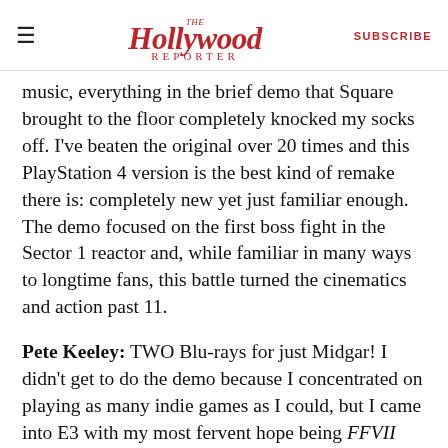The Hollywood Reporter | SUBSCRIBE
music, everything in the brief demo that Square brought to the floor completely knocked my socks off. I've beaten the original over 20 times and this PlayStation 4 version is the best kind of remake there is: completely new yet just familiar enough. The demo focused on the first boss fight in the Sector 1 reactor and, while familiar in many ways to longtime fans, this battle turned the cinematics and action past 11.
Pete Keeley: TWO Blu-rays for just Midgar! I didn't get to do the demo because I concentrated on playing as many indie games as I could, but I came into E3 with my most fervent hope being FFVII Remake news and, yeah, I've only beaten the original